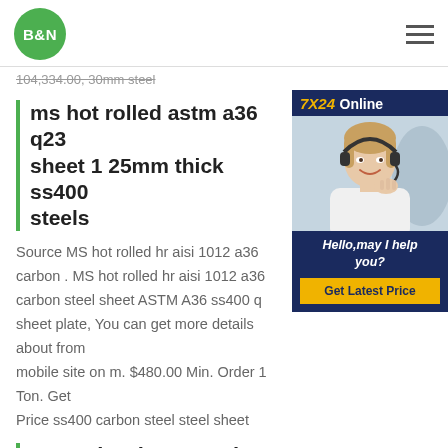B&N
104,334.00, 30mm steel
ms hot rolled astm a36 q23 sheet 1 25mm thick ss400 steels
Source MS hot rolled hr aisi 1012 a36 carbon . MS hot rolled hr aisi 1012 a36 carbon steel sheet ASTM A36 ss400 q sheet plate, You can get more details about from mobile site on m. $480.00 Min. Order 1 Ton. Get Price ss400 carbon steel steel sheet
[Figure (photo): Customer service representative with headset, online support chat widget with '7X24 Online', 'Hello, may I help you?' text and 'Get Latest Price' yellow button on dark navy background]
ss400 hr sheet steels